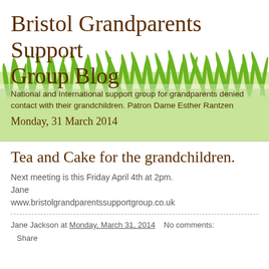Bristol Grandparents Support Group Blog
National and International support group for grandparents denied contact with their grandchildren. Patron Dame Esther Rantzen
Monday, 31 March 2014
Tea and Cake for the grandchildren.
Next meeting is this Friday April 4th at 2pm.
Jane
www.bristolgrandparentssupportgroup.co.uk
Jane Jackson at Monday, March 31, 2014   No comments:
Share